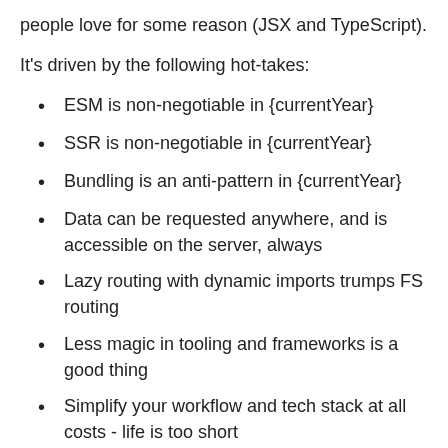people love for some reason (JSX and TypeScript).
It's driven by the following hot-takes:
ESM is non-negotiable in {currentYear}
SSR is non-negotiable in {currentYear}
Bundling is an anti-pattern in {currentYear}
Data can be requested anywhere, and is accessible on the server, always
Lazy routing with dynamic imports trumps FS routing
Less magic in tooling and frameworks is a good thing
Simplify your workflow and tech stack at all costs - life is too short
Streams are neat